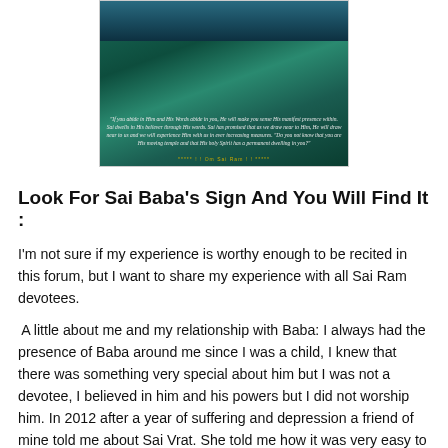[Figure (photo): A spiritual image of Sai Baba with a teal/green background and a quote overlay: 'If you abide in Him and His Words abide in you, He will make you sense His manifest presence within. Sai dwells in His believer through His words. Sai has promised that as we draw near to Him, He will draw near to us and we will experience Him with us in ever increasing measures. "Do you not know that you are His moving temple and that His holy Spirit has a permanent dwelling in you?"' with '***** ! ! Om Sai Ram ! ! *****' at the bottom.]
Look For Sai Baba's Sign And You Will Find It :
I'm not sure if my experience is worthy enough to be recited in this forum, but I want to share my experience with all Sai Ram devotees.
A little about me and my relationship with Baba: I always had the presence of Baba around me since I was a child, I knew that there was something very special about him but I was not a devotee, I believed in him and his powers but I did not worship him. In 2012 after a year of suffering and depression a friend of mine told me about Sai Vrat. She told me how it was very easy to do and how powerful it was, she